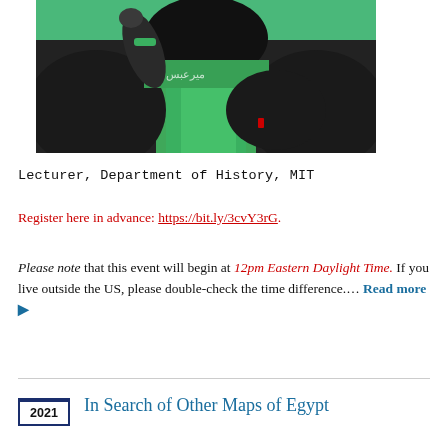[Figure (photo): A person wearing a black abaya and a green headscarf with Arabic calligraphy, raising one hand, against a green background.]
Lecturer, Department of History, MIT
Register here in advance: https://bit.ly/3cvY3rG.
Please note that this event will begin at 12pm Eastern Daylight Time. If you live outside the US, please double-check the time difference.... Read more ▶
In Search of Other Maps of Egypt
2021